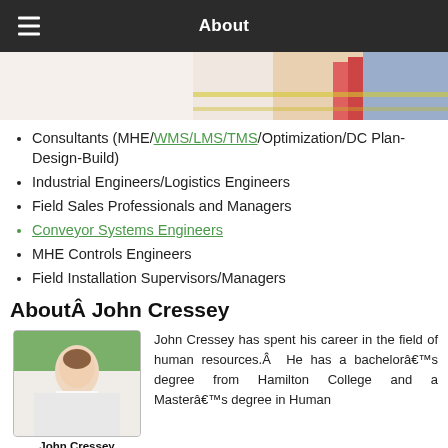About
[Figure (photo): Partial photo of people at a warehouse/logistics facility, showing lower bodies in casual and red clothing on a yellow-marked floor]
Consultants (MHE/WMS/LMS/TMS/Optimization/DC Plan-Design-Build)
Industrial Engineers/Logistics Engineers
Field Sales Professionals and Managers
Conveyor Systems Engineers
MHE Controls Engineers
Field Installation Supervisors/Managers
AboutÂ John Cressey
[Figure (photo): Headshot photo of John Cressey, Executive Recruiter, a middle-aged man in a white shirt and red tie with a city skyline background]
John Cressey has spent his career in the field of human resources.Â He has a bachelorâ€™s degree from Hamilton College and a Masterâ€™s degree in Human